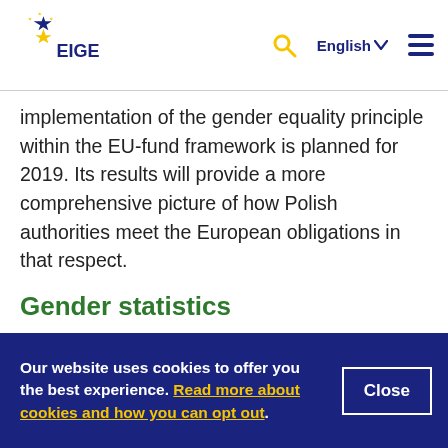EIGE — English
implementation of the gender equality principle within the EU-fund framework is planned for 2019. Its results will provide a more comprehensive picture of how Polish authorities meet the European obligations in that respect.
Gender statistics
There is no comprehensive monitoring or systematic evaluation of the level of
Our website uses cookies to offer you the best experience. Read more about cookies and how you can opt out.